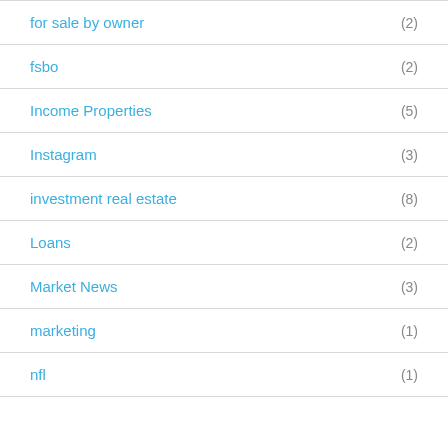for sale by owner (2)
fsbo (2)
Income Properties (5)
Instagram (3)
investment real estate (8)
Loans (2)
Market News (3)
marketing (1)
nfl (1)